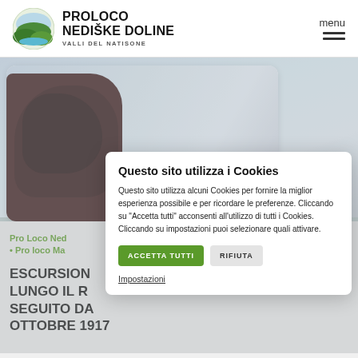[Figure (logo): Pro Loco Nediške Doline logo with mountain/valley illustration]
PROLOCO NEDIŠKE DOLINE VALLI DEL NATISONE
menu
[Figure (photo): Outdoor landscape photo showing dark red/brown tree against sky with clouds, used as hero/banner image]
Pro Loco Ned
Pro loco Ma
ESCURSION LUNGO IL R SEGUITO DA OTTOBRE 1917
Questo sito utilizza i Cookies

Questo sito utilizza alcuni Cookies per fornire la miglior esperienza possibile e per ricordare le preferenze. Cliccando su "Accetta tutti" acconsenti all'utilizzo di tutti i Cookies. Cliccando su impostazioni puoi selezionare quali attivare.

ACCETTA TUTTI   RIFIUTA

Impostazioni